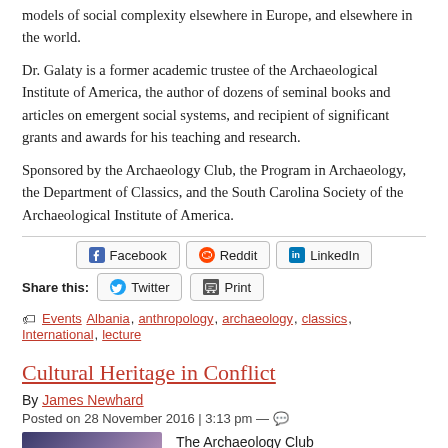models of social complexity elsewhere in Europe, and elsewhere in the world.
Dr. Galaty is a former academic trustee of the Archaeological Institute of America, the author of dozens of seminal books and articles on emergent social systems, and recipient of significant grants and awards for his teaching and research.
Sponsored by the Archaeology Club, the Program in Archaeology, the Department of Classics, and the South Carolina Society of the Archaeological Institute of America.
Share this: [Facebook] [Reddit] [LinkedIn] [Twitter] [Print]
Events Albania, anthropology, archaeology, classics, International, lecture
Cultural Heritage in Conflict
By James Newhard
Posted on 28 November 2016 | 3:13 pm —
The Archaeology Club